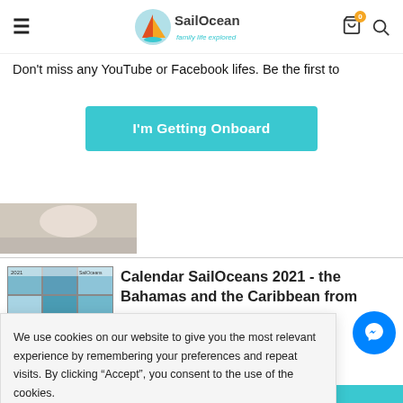SailOceans - family life explored
Don't miss any YouTube or Facebook lifes. Be the first to
I'm Getting Onboard
[Figure (photo): Thumbnail photo of a person on a sailing boat]
[Figure (photo): Grid of sailing/ocean thumbnail photos for Calendar SailOceans 2021]
Calendar SailOceans 2021 - the Bahamas and the Caribbean from
We use cookies on our website to give you the most relevant experience by remembering your preferences and repeat visits. By clicking “Accept”, you consent to the use of the cookies.
Accept